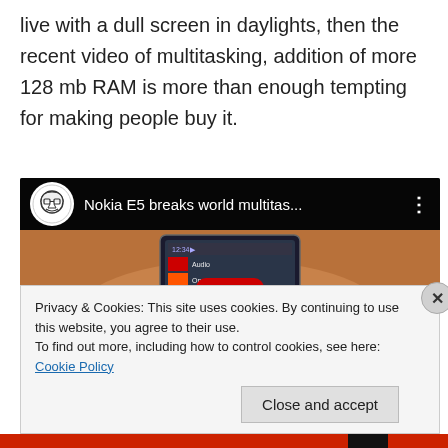live with a dull screen in daylights, then the recent video of multitasking, addition of more 128 mb RAM is more than enough tempting for making people buy it.
[Figure (screenshot): YouTube embedded video player showing 'Nokia E5 breaks world multitas...' with a channel icon, video title, three-dot menu, and a partially visible YouTube play button over a photo of hands holding a Nokia E5 smartphone.]
Privacy & Cookies: This site uses cookies. By continuing to use this website, you agree to their use.
To find out more, including how to control cookies, see here: Cookie Policy
Close and accept